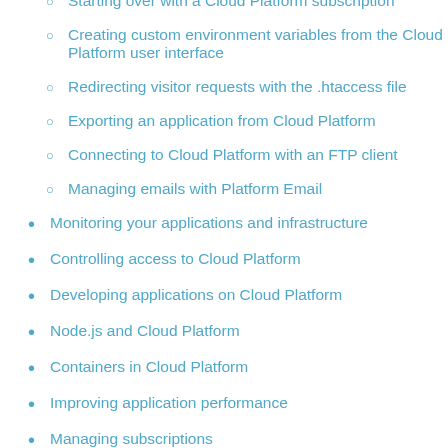Starting over with a Cloud Platform subscription
Creating custom environment variables from the Cloud Platform user interface
Redirecting visitor requests with the .htaccess file
Exporting an application from Cloud Platform
Connecting to Cloud Platform with an FTP client
Managing emails with Platform Email
Monitoring your applications and infrastructure
Controlling access to Cloud Platform
Developing applications on Cloud Platform
Node.js and Cloud Platform
Containers in Cloud Platform
Improving application performance
Managing subscriptions
Cloud Platform CD
Cloud Platform CDN